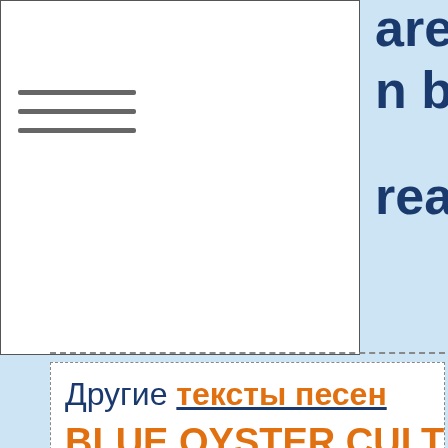are n baby...don't reaper
Другие тексты песен BLUE OYSTER CULT
Transmaniacon Mc
The Reaper